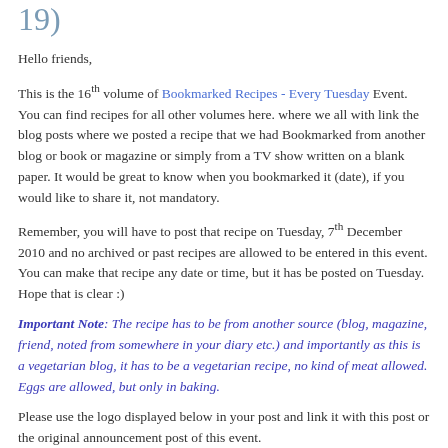19)
Hello friends,
This is the 16th volume of Bookmarked Recipes - Every Tuesday Event. You can find recipes for all other volumes here. where we all with link the blog posts where we posted a recipe that we had Bookmarked from another blog or book or magazine or simply from a TV show written on a blank paper. It would be great to know when you bookmarked it (date), if you would like to share it, not mandatory.
Remember, you will have to post that recipe on Tuesday, 7th December 2010 and no archived or past recipes are allowed to be entered in this event. You can make that recipe any date or time, but it has be posted on Tuesday. Hope that is clear :)
Important Note: The recipe has to be from another source (blog, magazine, friend, noted from somewhere in your diary etc.) and importantly as this is a vegetarian blog, it has to be a vegetarian recipe, no kind of meat allowed. Eggs are allowed, but only in baking.
Please use the logo displayed below in your post and link it with this post or the original announcement post of this event.